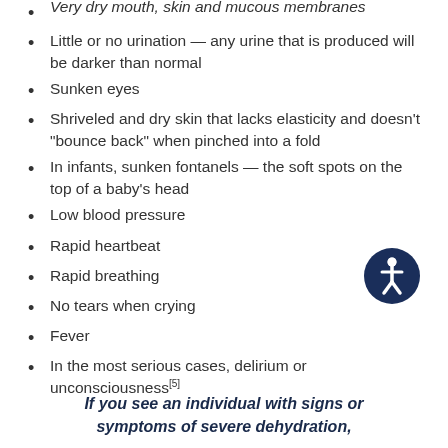Very dry mouth, skin and mucous membranes
Little or no urination — any urine that is produced will be darker than normal
Sunken eyes
Shriveled and dry skin that lacks elasticity and doesn't "bounce back" when pinched into a fold
In infants, sunken fontanels — the soft spots on the top of a baby's head
Low blood pressure
Rapid heartbeat
Rapid breathing
No tears when crying
Fever
In the most serious cases, delirium or unconsciousness[5]
[Figure (illustration): Accessibility icon: white stick figure person in a circle on dark blue background]
If you see an individual with signs or symptoms of severe dehydration,